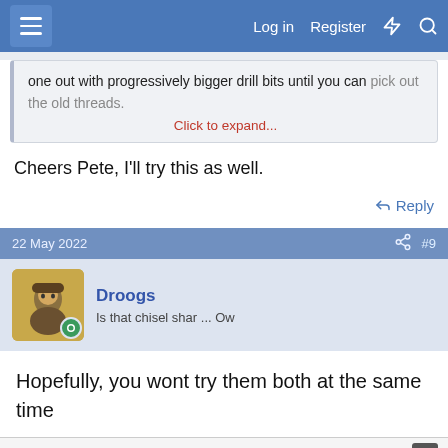Log in  Register
one out with progressively bigger drill bits until you can pick out the old threads.
Click to expand...
Cheers Pete, I'll try this as well.
Reply
22 May 2022  #9
Droogs
Is that chisel shar ... Ow
Hopefully, you wont try them both at the same time
Report Ad